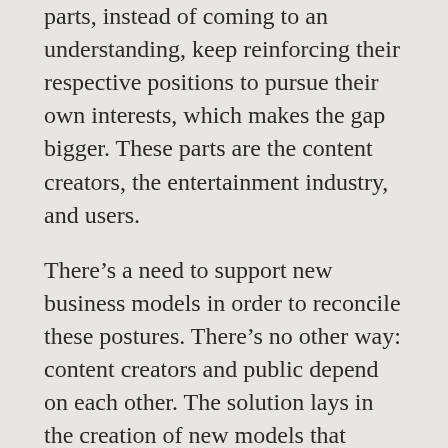parts, instead of coming to an understanding, keep reinforcing their respective positions to pursue their own interests, which makes the gap bigger. These parts are the content creators, the entertainment industry, and users.
There’s a need to support new business models in order to reconcile these postures. There’s no other way: content creators and public depend on each other. The solution lays in the creation of new models that prove themselves effective and satisfy all stakeholders, and there are many emerging businesses pursuing this idea. But there’s still much work to do.
Privacy
One of the core ideas of the event was the topic of privacy, the data, and its impact. Some thoughts and